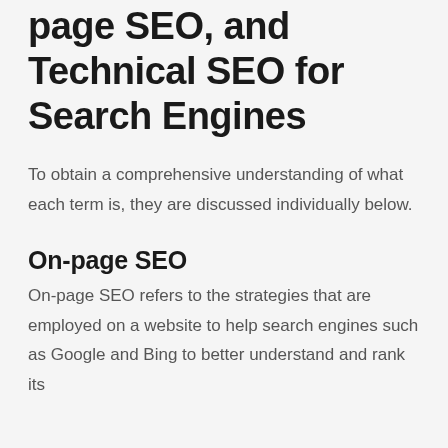page SEO, and Technical SEO for Search Engines
To obtain a comprehensive understanding of what each term is, they are discussed individually below.
On-page SEO
On-page SEO refers to the strategies that are employed on a website to help search engines such as Google and Bing to better understand and rank its